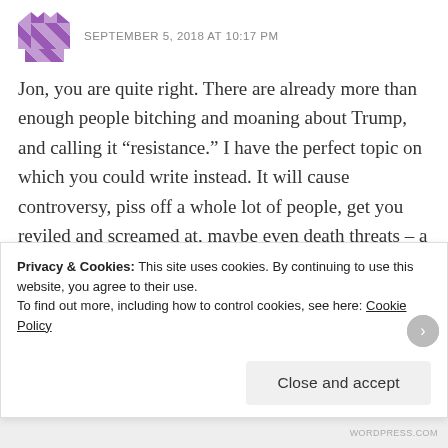SEPTEMBER 5, 2018 AT 10:17 PM
Jon, you are quite right. There are already more than enough people bitching and moaning about Trump, and calling it “resistance.” I have the perfect topic on which you could write instead. It will cause controversy, piss off a whole lot of people, get you reviled and screamed at, maybe even death threats – a pleasant change from boring old adulation, I should think.
It is this: look into how the DNC elites, the Clintons, et al
Privacy & Cookies: This site uses cookies. By continuing to use this website, you agree to their use.
To find out more, including how to control cookies, see here: Cookie Policy
Close and accept